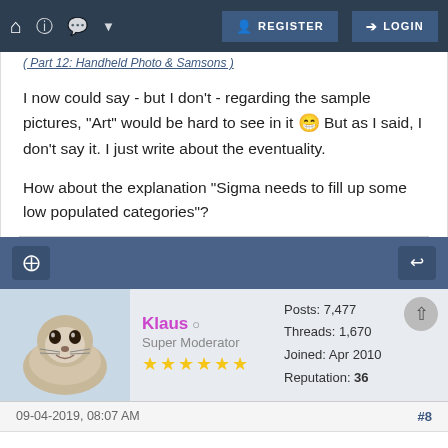Home | Help | Chat | REGISTER | LOGIN
( Part 12: Handheld Photo & Samsons )
I now could say - but I don't - regarding the sample pictures, "Art" would be hard to see in it 😁 But as I said, I don't say it. I just write about the eventuality.

How about the explanation "Sigma needs to fill up some low populated categories"?
Klaus  Super Moderator ★★★★★★  Posts: 7,477  Threads: 1,670  Joined: Apr 2010  Reputation: 36
09-04-2019, 08:07 AM  #8